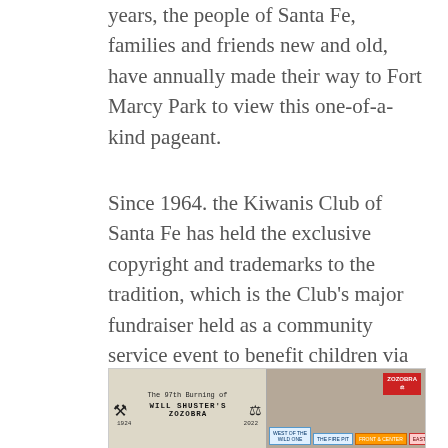years, the people of Santa Fe, families and friends new and old, have annually made their way to Fort Marcy Park to view this one-of-a-kind pageant.
Since 1964. the Kiwanis Club of Santa Fe has held the exclusive copyright and trademarks to the tradition, which is the Club's major fundraiser held as a community service event to benefit children via grants made from the event's net proceeds.
[Figure (illustration): Image showing 'The 97th Burning of Will Shuster's Zozobra 1924-2022' event poster on the left half, and a map/venue layout on the right half with labeled ticket sections: West of the Wild One, The Fire Pit, Front & Center, East of the Beast, and a red Zozobra logo box.]